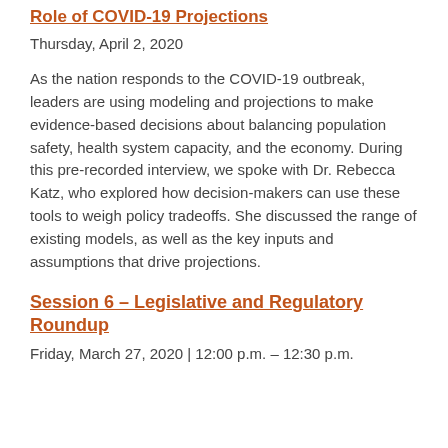Role of COVID-19 Projections
Thursday, April 2, 2020
As the nation responds to the COVID-19 outbreak, leaders are using modeling and projections to make evidence-based decisions about balancing population safety, health system capacity, and the economy. During this pre-recorded interview, we spoke with Dr. Rebecca Katz, who explored how decision-makers can use these tools to weigh policy tradeoffs. She discussed the range of existing models, as well as the key inputs and assumptions that drive projections.
Session 6 – Legislative and Regulatory Roundup
Friday, March 27, 2020 | 12:00 p.m. – 12:30 p.m.